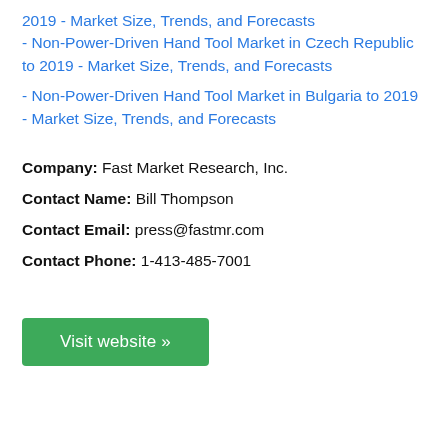2019 - Market Size, Trends, and Forecasts - Non-Power-Driven Hand Tool Market in Czech Republic to 2019 - Market Size, Trends, and Forecasts
- Non-Power-Driven Hand Tool Market in Bulgaria to 2019 - Market Size, Trends, and Forecasts
Company: Fast Market Research, Inc.
Contact Name: Bill Thompson
Contact Email: press@fastmr.com
Contact Phone: 1-413-485-7001
Visit website »